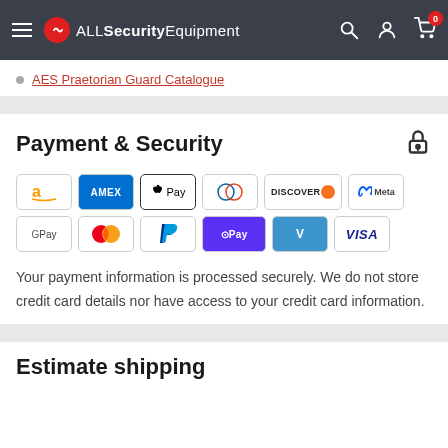ALLSecurityEquipment
AES Praetorian Guard Catalogue
Payment & Security
[Figure (infographic): Payment method icons: Amazon Pay, AMEX, Apple Pay, Diners Club, Discover, Meta Pay, Google Pay, Mastercard, PayPal, Shop Pay, Venmo, Visa]
Your payment information is processed securely. We do not store credit card details nor have access to your credit card information.
Estimate shipping